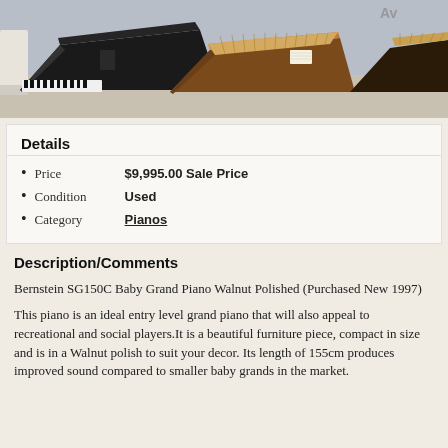[Figure (photo): Photo of multiple grand pianos in a showroom, including black and walnut/brown polished baby grand pianos with lids open]
Details
Price   $9,995.00 Sale Price
Condition   Used
Category   Pianos
Description/Comments
Bernstein SG150C Baby Grand Piano Walnut Polished (Purchased New 1997)
This piano is an ideal entry level grand piano that will also appeal to recreational and social players.It is a beautiful furniture piece, compact in size and is in a Walnut polish to suit your decor. Its length of 155cm produces improved sound compared to smaller baby grands in the market.